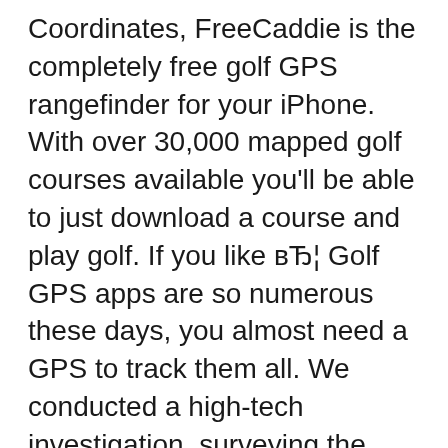Coordinates, FreeCaddie is the completely free golf GPS rangefinder for your iPhone. With over 30,000 mapped golf courses available you'll be able to just download a course and play golf. If you like вЂ¦ Golf GPS apps are so numerous these days, you almost need a GPS to track them all. We conducted a high-tech investigation, surveying the crowded app market to direct you toward six winners for six
Book tee times & save up to 80% off at 9,000+ courses. Free GPS & score tracking available exclusive on GolfNow app. Download the free GolfNow app today! Audio updates option (a great hands-free way to use the app) Support